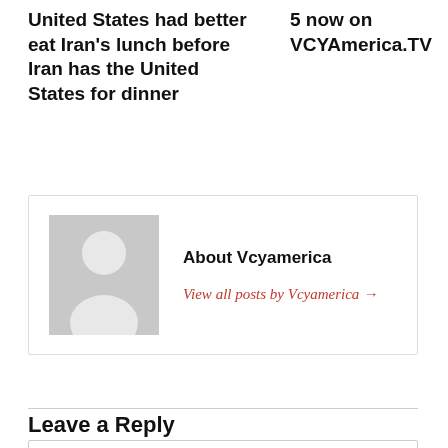United States had better eat Iran’s lunch before Iran has the United States for dinner
5 now on VCYAmerica.TV
[Figure (illustration): Author avatar placeholder: gray silhouette of a person on a light gray background]
About Vcyamerica
View all posts by Vcyamerica →
Leave a Reply
Enter your comment here